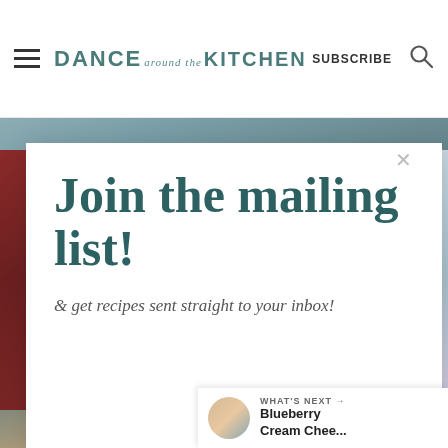DANCE around the KITCHEN  SUBSCRIBE
Join the mailing list!
& get recipes sent straight to your inbox!
Email address
Subscribe
107
WHAT'S NEXT → Blueberry Cream Chee...